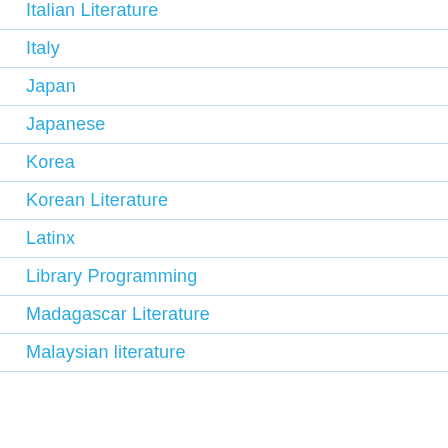Italian Literature
Italy
Japan
Japanese
Korea
Korean Literature
Latinx
Library Programming
Madagascar Literature
Malaysian literature